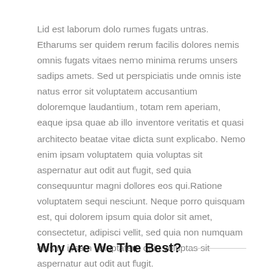Lid est laborum dolo rumes fugats untras. Etharums ser quidem rerum facilis dolores nemis omnis fugats vitaes nemo minima rerums unsers sadips amets. Sed ut perspiciatis unde omnis iste natus error sit voluptatem accusantium doloremque laudantium, totam rem aperiam, eaque ipsa quae ab illo inventore veritatis et quasi architecto beatae vitae dicta sunt explicabo. Nemo enim ipsam voluptatem quia voluptas sit aspernatur aut odit aut fugit, sed quia consequuntur magni dolores eos qui.Ratione voluptatem sequi nesciunt. Neque porro quisquam est, qui dolorem ipsum quia dolor sit amet, consectetur, adipisci velit, sed quia non numquam eius m ipsam voluptatem quia voluptas sit aspernatur aut odit aut fugit.
Why Are We The Best?